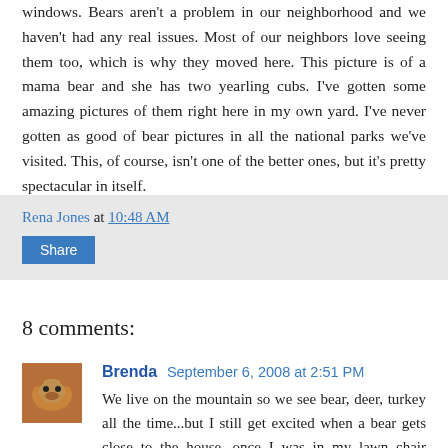windows. Bears aren't a problem in our neighborhood and we haven't had any real issues. Most of our neighbors love seeing them too, which is why they moved here. This picture is of a mama bear and she has two yearling cubs. I've gotten some amazing pictures of them right here in my own yard. I've never gotten as good of bear pictures in all the national parks we've visited. This, of course, isn't one of the better ones, but it's pretty spectacular in itself.
Rena Jones at 10:48 AM
Share
8 comments:
Brenda September 6, 2008 at 2:51 PM
We live on the mountain so we see bear, deer, turkey all the time...but I still get excited when a bear gets close to the house...once I was in my lawn chair reading and I got up to get something to drink...when I looked out the window there was a bear right beside my chair, the one that I had